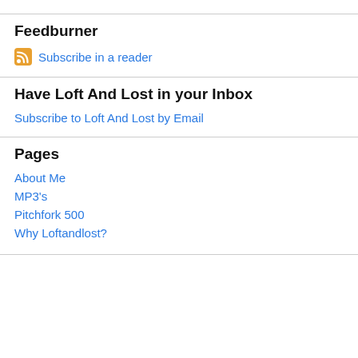Feedburner
Subscribe in a reader
Have Loft And Lost in your Inbox
Subscribe to Loft And Lost by Email
Pages
About Me
MP3's
Pitchfork 500
Why Loftandlost?